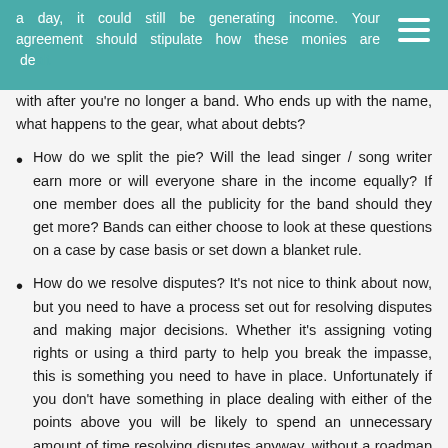a day, it could still be generating income. Your agreement should stipulate how these monies are dealt with after you're no longer a band. Who ends up with the name, what happens to the gear, what about debts?
How do we split the pie? Will the lead singer / song writer earn more or will everyone share in the income equally? If one member does all the publicity for the band should they get more? Bands can either choose to look at these questions on a case by case basis or set down a blanket rule.
How do we resolve disputes? It's not nice to think about now, but you need to have a process set out for resolving disputes and making major decisions. Whether it's assigning voting rights or using a third party to help you break the impasse, this is something you need to have in place. Unfortunately if you don't have something in place dealing with either of the points above you will be likely to spend an unnecessary amount of time resolving disputes anyway, without a roadmap that all parties are aware of and have agreed to.